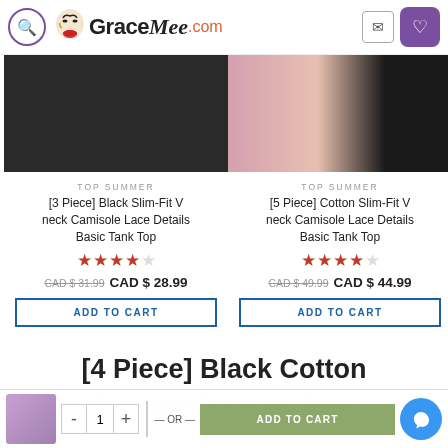GraceMee.com
[Figure (screenshot): Product image of black slim-fit camisole top on mannequin]
TOP SUMMER
[3 Piece] Black Slim-Fit V neck Camisole Lace Details Basic Tank Top
★★★★☆ CAD $31.99  CAD $28.99
ADD TO CART
[Figure (screenshot): Product image of cotton slim-fit camisole in multiple colors on mannequin]
TOP SUMMER
[5 Piece] Cotton Slim-Fit V neck Camisole Lace Details Basic Tank Top
★★★★☆ CAD $49.99  CAD $44.99
ADD TO CART
[4 Piece] Black Cotton
Camisole Spaghetti Strap Camisole Basic Tank Top
- 1 + — OR — ADD TO CART